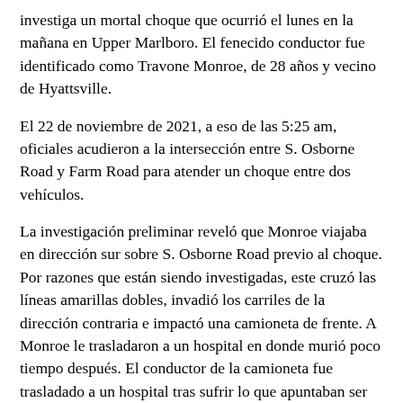investiga un mortal choque que ocurrió el lunes en la mañana en Upper Marlboro. El fenecido conductor fue identificado como Travone Monroe, de 28 años y vecino de Hyattsville.
El 22 de noviembre de 2021, a eso de las 5:25 am, oficiales acudieron a la intersección entre S. Osborne Road y Farm Road para atender un choque entre dos vehículos.
La investigación preliminar reveló que Monroe viajaba en dirección sur sobre S. Osborne Road previo al choque. Por razones que están siendo investigadas, este cruzó las líneas amarillas dobles, invadió los carriles de la dirección contraria e impactó una camioneta de frente. A Monroe le trasladaron a un hospital en donde murió poco tiempo después. El conductor de la camioneta fue trasladado a un hospital tras sufrir lo que apuntaban ser lesiones menos severas.
Pedimos que quien tenga información sobre este caso por favor llame a la Unidad de Análisis y Reconstrucción de Choques al 301-731-4422. Quienes deseen permanecer